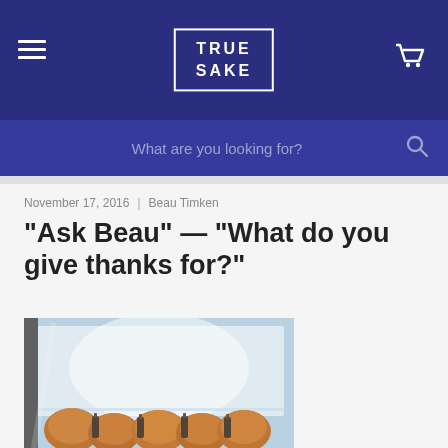TRUE SAKE
What are you looking for?
November 17, 2016 | Beau Timken
“Ask Beau” — “What do you give thanks for?”
[Figure (photo): Photo of roasted turkeys or chickens with sake bottles in a glass refrigerator case]